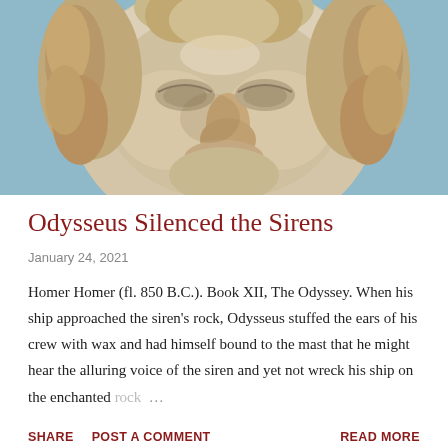[Figure (photo): Close-up photograph of an ancient marble sculpture of a face, likely Greek or Roman, with curly hair and a weathered stone surface, against a blue-grey background.]
Odysseus Silenced the Sirens
January 24, 2021
Homer Homer (fl. 850 B.C.). Book XII, The Odyssey. When his ship approached the siren's rock, Odysseus stuffed the ears of his crew with wax and had himself bound to the mast that he might hear the alluring voice of the siren and yet not wreck his ship on the enchanted rock …
SHARE   POST A COMMENT   READ MORE